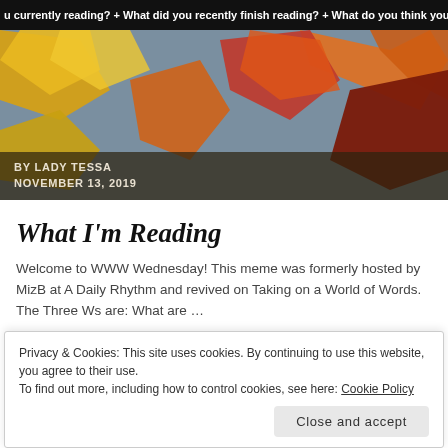u currently reading? + What did you recently finish reading? + What do you think you'll rea
[Figure (photo): Autumn leaves in yellow, red, orange, and dark colors against a grey sky background]
BY LADY TESSA
NOVEMBER 13, 2019
What I'm Reading
Welcome to WWW Wednesday! This meme was formerly hosted by MizB at A Daily Rhythm and revived on Taking on a World of Words. The Three Ws are: What are ...
CONTINUE READING
Privacy & Cookies: This site uses cookies. By continuing to use this website, you agree to their use.
To find out more, including how to control cookies, see here: Cookie Policy
Close and accept